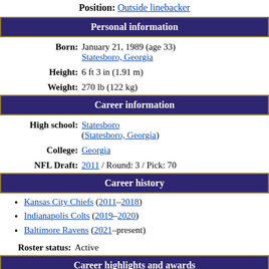Position: Outside linebacker
Personal information
Born: January 21, 1989 (age 33) Statesboro, Georgia
Height: 6 ft 3 in (1.91 m)
Weight: 270 lb (122 kg)
Career information
High school: Statesboro (Statesboro, Georgia)
College: Georgia
NFL Draft: 2011 / Round: 3 / Pick: 70
Career history
Kansas City Chiefs (2011–2018)
Indianapolis Colts (2019–2020)
Baltimore Ravens (2021–present)
Roster status: Active
Career highlights and awards
First-team All-Pro (2014)